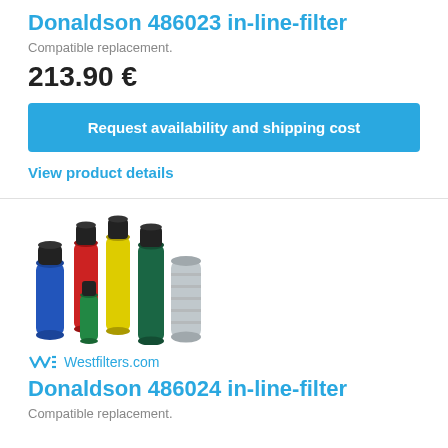Donaldson 486023 in-line-filter
Compatible replacement.
213.90 €
Request availability and shipping cost
View product details
[Figure (photo): Group of cylindrical inline filters of various sizes and colors (blue, red, yellow, green, silver/chrome) from Westfilters.com]
Westfilters.com
Donaldson 486024 in-line-filter
Compatible replacement.